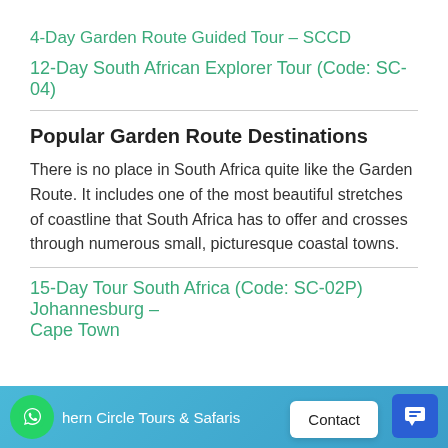4-Day Garden Route Guided Tour – SCCD
12-Day South African Explorer Tour (Code: SC-04)
Popular Garden Route Destinations
There is no place in South Africa quite like the Garden Route. It includes one of the most beautiful stretches of coastline that South Africa has to offer and crosses through numerous small, picturesque coastal towns.
15-Day Tour South Africa (Code: SC-02P) Johannesburg – Cape Town
Northern Circle Tours & Safaris  |  Contact